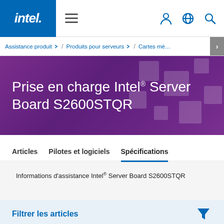intel. ≡ (navigation icons)
Assistance produit ▾ / Produits pour serveurs ▾ / Cartes mè… ›
Prise en charge Intel® Server Board S2600STQR
Articles   Pilotes et logiciels   Spécifications
Informations d'assistance Intel® Server Board S2600STQR
Filtrer les articles